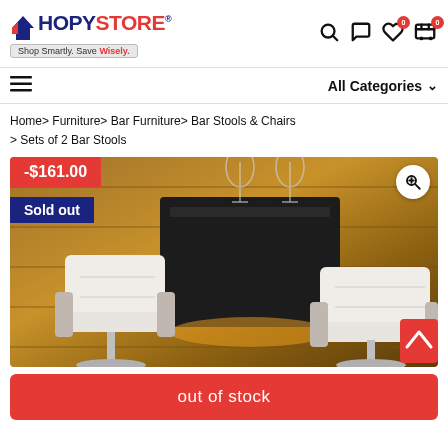[Figure (logo): ShopyStore logo with tagline 'Shop Smartly. Save Wisely.' and registered trademark symbol]
Home > Furniture > Bar Furniture > Bar Stools & Chairs > Sets of 2 Bar Stools
[Figure (photo): Product photo of two white bar stools with chrome bases in front of a dark wood bar counter, with wine glasses in background. Shows discount badge -$161.00 and Sold out badge.]
out of stock